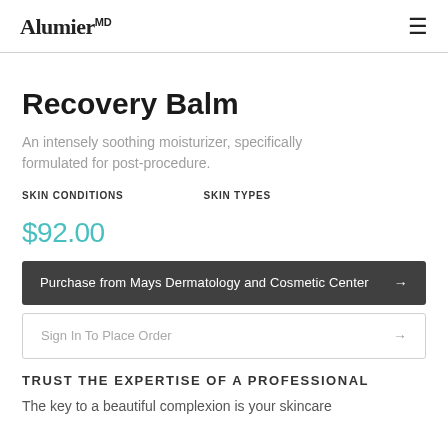AlumierMD
Recovery Balm
An intensely soothing moisturizer, specifically formulated for post-procedure.
SKIN CONDITIONS   SKIN TYPES
$92.00
Purchase from Mays Dermatology and Cosmetic Center →
Sign In To Place Order →
TRUST THE EXPERTISE OF A PROFESSIONAL
The key to a beautiful complexion is your skincare